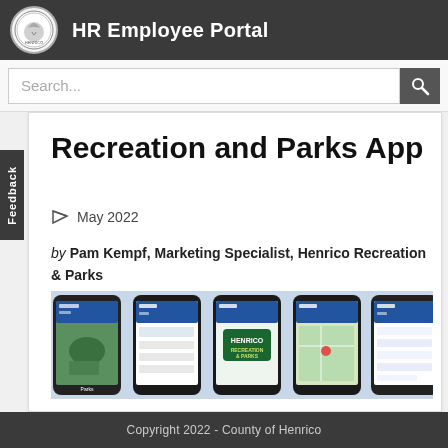HR Employee Portal
[Figure (screenshot): HR Employee Portal logo — circular seal of Henrico County]
Search...
Feedback
Recreation and Parks App
May 2022
by Pam Kempf, Marketing Specialist, Henrico Recreation & Parks
[Figure (photo): Five smartphones displaying the Henrico Recreation & Parks app interface, showing parks info, maps, and the app logo]
Copyright 2022 - County of Henrico